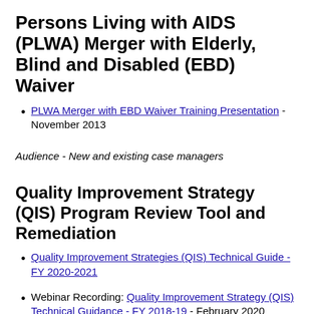Persons Living with AIDS (PLWA) Merger with Elderly, Blind and Disabled (EBD) Waiver
PLWA Merger with EBD Waiver Training Presentation - November 2013
Audience - New and existing case managers
Quality Improvement Strategy (QIS) Program Review Tool and Remediation
Quality Improvement Strategies (QIS) Technical Guide - FY 2020-2021
Webinar Recording: Quality Improvement Strategy (QIS) Technical Guidance - FY 2018-19 - February 2020